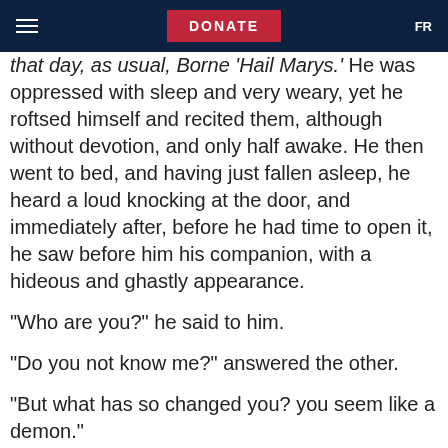DONATE  FR
that day, as usual, some 'Hail Marys.' He was oppressed with sleep and very weary, yet he roftsed himself and recited them, although without devotion, and only half awake. He then went to bed, and having just fallen asleep, he heard a loud knocking at the door, and immediately after, before he had time to open it, he saw before him his companion, with a hideous and ghastly appearance.
"Who are you?" he said to him.
"Do you not know me?" answered the other.
"But what has so changed you? you seem like a demon."
"Alas!" exclaimed this poor wretch, "I am damned."